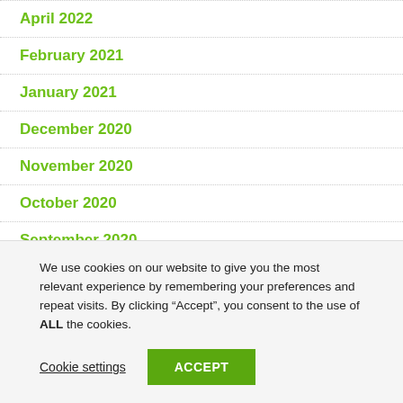April 2022
February 2021
January 2021
December 2020
November 2020
October 2020
September 2020
We use cookies on our website to give you the most relevant experience by remembering your preferences and repeat visits. By clicking “Accept”, you consent to the use of ALL the cookies.
Cookie settings   ACCEPT